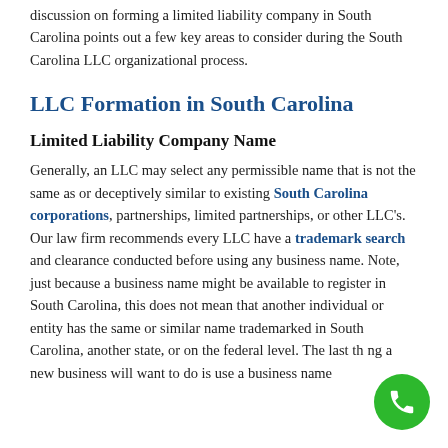discussion on forming a limited liability company in South Carolina points out a few key areas to consider during the South Carolina LLC organizational process.
LLC Formation in South Carolina
Limited Liability Company Name
Generally, an LLC may select any permissible name that is not the same as or deceptively similar to existing South Carolina corporations, partnerships, limited partnerships, or other LLC's. Our law firm recommends every LLC have a trademark search and clearance conducted before using any business name. Note, just because a business name might be available to register in South Carolina, this does not mean that another individual or entity has the same or similar name trademarked in South Carolina, another state, or on the federal level. The last thing a new business will want to do is use a business name